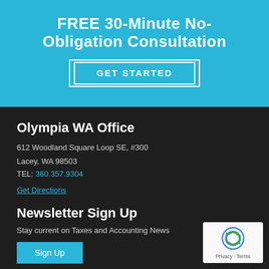FREE 30-Minute No-Obligation Consultation
GET STARTED
Olympia WA Office
612 Woodland Square Loop SE, #300
Lacey, WA 98503
TEL: 360.357.9304
Get Directions
Newsletter Sign Up
Stay current on Taxes and Accounting News
Sign Up
[Figure (logo): reCAPTCHA badge with Google reCAPTCHA logo and Privacy - Terms links]